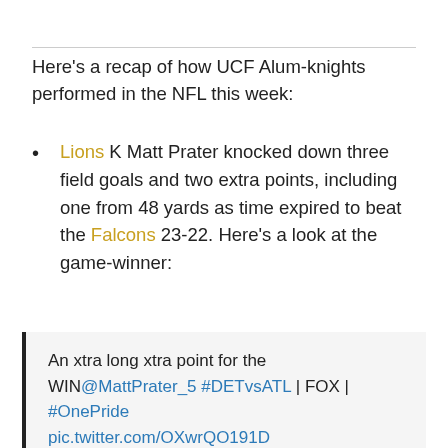Here's a recap of how UCF Alum-knights performed in the NFL this week:
Lions K Matt Prater knocked down three field goals and two extra points, including one from 48 yards as time expired to beat the Falcons 23-22. Here's a look at the game-winner:
An xtra long xtra point for the WIN @MattPrater_5 #DETvsATL | FOX | #OnePride pic.twitter.com/OXwrQO191D
— Detroit Lions (@Lions) October 25, 2020